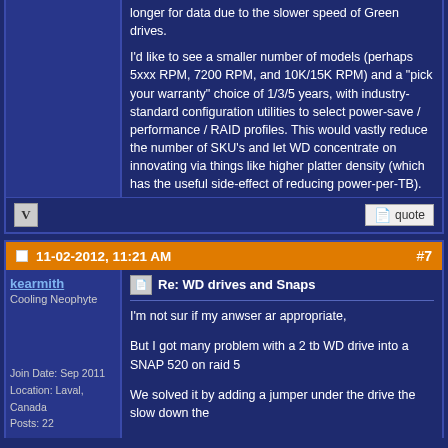longer for data due to the slower speed of Green drives. I'd like to see a smaller number of models (perhaps 5xxx RPM, 7200 RPM, and 10K/15K RPM) and a "pick your warranty" choice of 1/3/5 years, with industry-standard configuration utilities to select power-save / performance / RAID profiles. This would vastly reduce the number of SKU's and let WD concentrate on innovating via things like higher platter density (which has the useful side-effect of reducing power-per-TB).
11-02-2012, 11:21 AM  #7
kearmith
Cooling Neophyte
Join Date: Sep 2011
Location: Laval, Canada
Posts: 22
Re: WD drives and Snaps
I'm not sur if my anwser ar appropriate,
But I got many problem with a 2 tb WD drive into a SNAP 520 on raid 5
We solved it by adding a jumper under the drive the slow down the